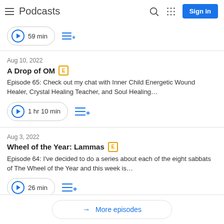Podcasts
59 min
Aug 10, 2022
A Drop of OM [E]
Episode 65: Check out my chat with Inner Child Energetic Wound Healer, Crystal Healing Teacher, and Soul Healing...
1 hr 10 min
Aug 3, 2022
Wheel of the Year: Lammas [E]
Episode 64: I've decided to do a series about each of the eight sabbats of The Wheel of the Year and this week is...
26 min
More episodes